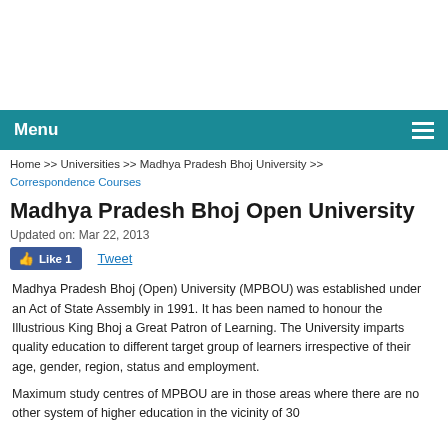Menu
Home >> Universities >> Madhya Pradesh Bhoj University >> Correspondence Courses
Madhya Pradesh Bhoj Open University
Updated on: Mar 22, 2013
Madhya Pradesh Bhoj (Open) University (MPBOU) was established under an Act of State Assembly in 1991. It has been named to honour the Illustrious King Bhoj a Great Patron of Learning. The University imparts quality education to different target group of learners irrespective of their age, gender, region, status and employment.
Maximum study centres of MPBOU are in those areas where there are no other system of higher education in the vicinity of 30...